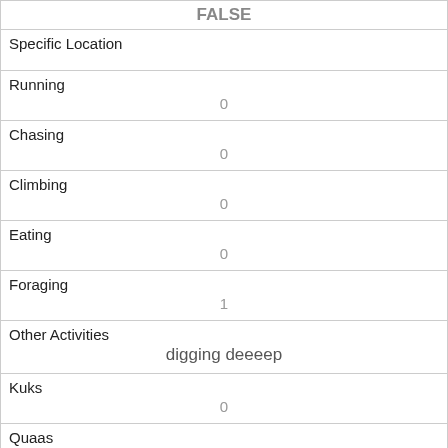| FALSE |
| Specific Location
 |
| Running
0 |
| Chasing
0 |
| Climbing
0 |
| Eating
0 |
| Foraging
1 |
| Other Activities
digging deeeep |
| Kuks
0 |
| Quaas
0 |
| Moans
0 |